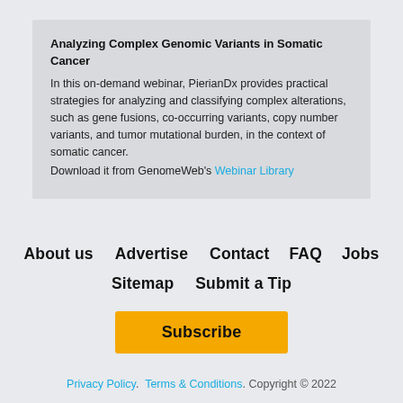Analyzing Complex Genomic Variants in Somatic Cancer
In this on-demand webinar, PierianDx provides practical strategies for analyzing and classifying complex alterations, such as gene fusions, co-occurring variants, copy number variants, and tumor mutational burden, in the context of somatic cancer.
Download it from GenomeWeb's Webinar Library
About us   Advertise   Contact   FAQ   Jobs
Sitemap   Submit a Tip
Subscribe
Privacy Policy.  Terms & Conditions. Copyright © 2022